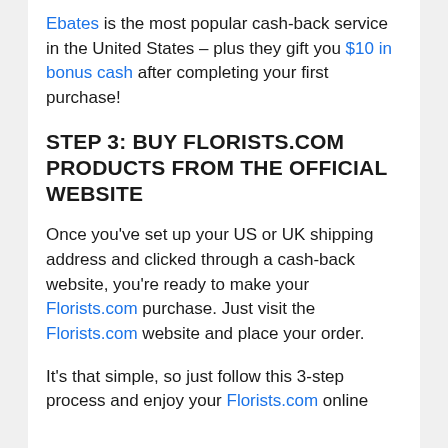Ebates is the most popular cash-back service in the United States – plus they gift you $10 in bonus cash after completing your first purchase!
STEP 3: BUY FLORISTS.COM PRODUCTS FROM THE OFFICIAL WEBSITE
Once you've set up your US or UK shipping address and clicked through a cash-back website, you're ready to make your Florists.com purchase. Just visit the Florists.com website and place your order.
It's that simple, so just follow this 3-step process and enjoy your Florists.com online